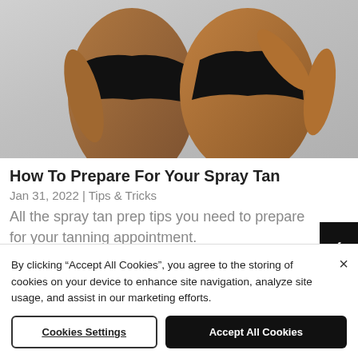[Figure (photo): Two women in black bikini tops showing tanned skin, photographed from torso up against a light gray background.]
How To Prepare For Your Spray Tan
Jan 31, 2022 | Tips & Tricks
All the spray tan prep tips you need to prepare for your tanning appointment.
By clicking “Accept All Cookies”, you agree to the storing of cookies on your device to enhance site navigation, analyze site usage, and assist in our marketing efforts.
Cookies Settings
Accept All Cookies